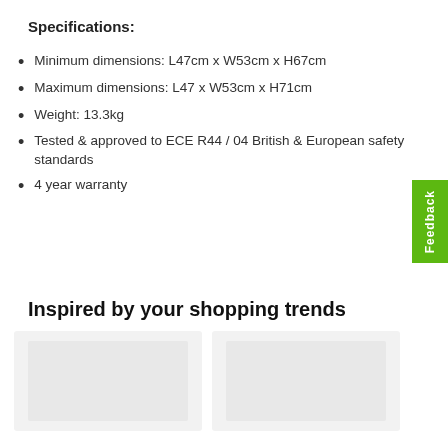Specifications:
Minimum dimensions: L47cm x W53cm x H67cm
Maximum dimensions: L47 x W53cm x H71cm
Weight: 13.3kg
Tested & approved to ECE R44 / 04 British & European safety standards
4 year warranty
Inspired by your shopping trends
[Figure (photo): Two product cards shown as light gray placeholder boxes]
[Figure (other): Green feedback tab on right side]